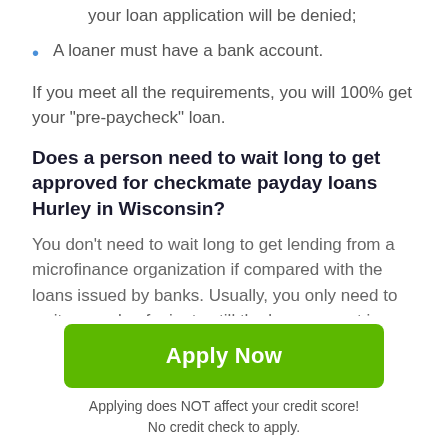your loan application will be denied;
A loaner must have a bank account.
If you meet all the requirements, you will 100% get your "pre-paycheck" loan.
Does a person need to wait long to get approved for checkmate payday loans Hurley in Wisconsin?
You don't need to wait long to get lending from a microfinance organization if compared with the loans issued by banks. Usually, you only need to wait a couple of minutes till the loan request is processed and affirmed. Almost all loan requests are accepted, though there are
[Figure (other): Green 'Apply Now' button]
Applying does NOT affect your credit score!
No credit check to apply.